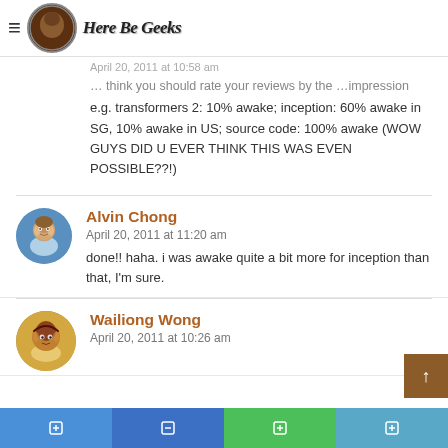Here Be Geeks
e.g. transformers 2: 10% awake; inception: 60% awake in SG, 10% awake in US; source code: 100% awake (WOW GUYS DID U EVER THINK THIS WAS EVEN POSSIBLE??!)
Alvin Chong
April 20, 2011 at 11:20 am
done!! haha. i was awake quite a bit more for inception than that, I'm sure.
Wailiong Wong
April 20, 2011 at 10:26 am